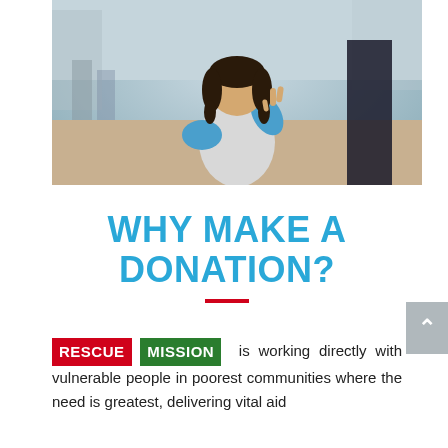[Figure (photo): Young girl in a blue top and silver vest making a peace sign at a refugee camp, with blurred figures in the background]
WHY MAKE A DONATION?
RESCUE MISSION is working directly with vulnerable people in poorest communities where the need is greatest, delivering vital aid